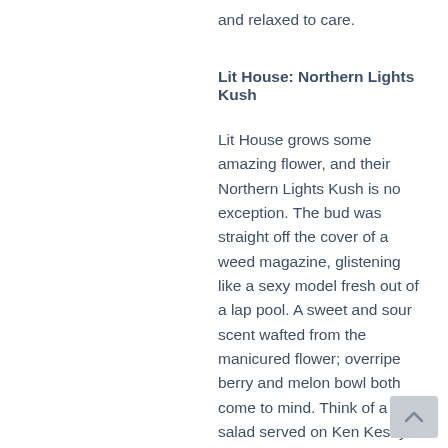and relaxed to care.
Lit House: Northern Lights Kush
Lit House grows some amazing flower, and their Northern Lights Kush is no exception. The bud was straight off the cover of a weed magazine, glistening like a sexy model fresh out of a lap pool. A sweet and sour scent wafted from the manicured flower; overripe berry and melon bowl both come to mind. Think of a fruit salad served on Ken Kesey’s Furthur bus. With dark, smooth hits, you could taste how high you were about to get. After smoking a joint of the Northern Lights Kush, I felt like I was moving around my house in slow motion. Like the star of an OK Go music video, I waltzed around my kitchen doing the robot